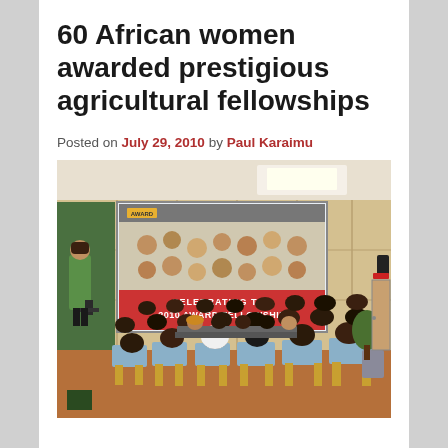60 African women awarded prestigious agricultural fellowships
Posted on July 29, 2010 by Paul Karaimu
[Figure (photo): A conference room scene showing an audience of women seated in light wood chairs facing a large projection screen. The screen displays 'CELEBRATING THE 2010 AWARD FELLOWSHIP' with a collage of faces. A woman in a green jacket stands at a podium on the left side. The room has wood-paneled walls and ceiling lighting.]